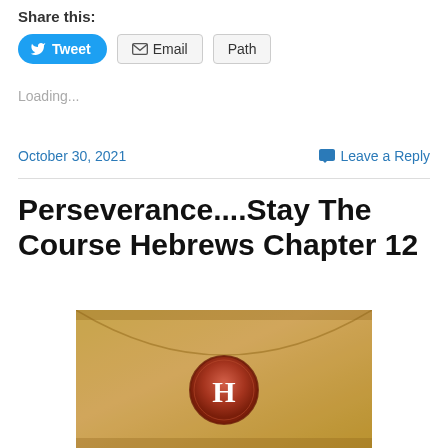Share this:
[Figure (screenshot): Social sharing buttons: Tweet (blue rounded), Email (grey bordered), Path (grey bordered)]
Loading...
October 30, 2021
Leave a Reply
Perseverance....Stay The Course Hebrews Chapter 12
[Figure (photo): An old parchment envelope sealed with a red wax seal bearing the letter H]